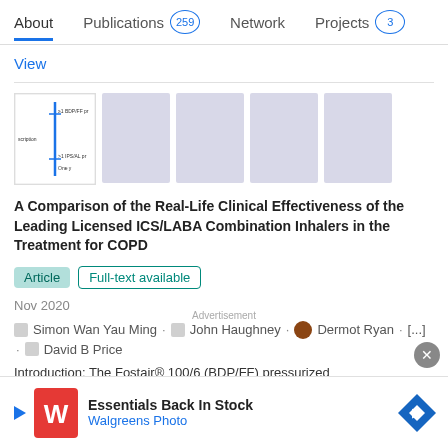About  Publications 259  Network  Projects 3
View
[Figure (other): Thumbnail strip showing 5 preview images of the article, the first showing a small diagram with BDP/FF and IPS/AL labels with a vertical blue line, the rest are blank grey placeholders.]
A Comparison of the Real-Life Clinical Effectiveness of the Leading Licensed ICS/LABA Combination Inhalers in the Treatment for COPD
Article   Full-text available
Nov 2020
Simon Wan Yau Ming · John Haughney · Dermot Ryan · [...] · David B Price
Introduction: The Fostair® 100/6 (BDP/FF) pressurized
[Figure (other): Walgreens Photo advertisement banner: Essentials Back In Stock, with red W logo and blue diamond arrow icon.]